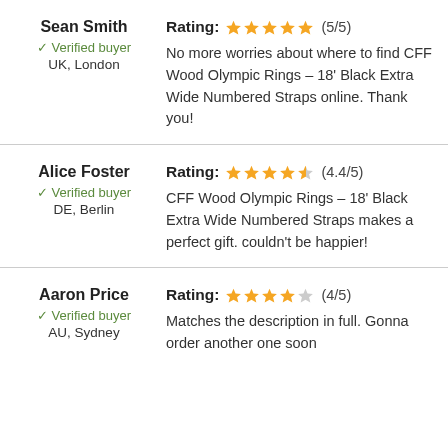Sean Smith — Verified buyer, UK, London
Rating: (5/5) — No more worries about where to find CFF Wood Olympic Rings – 18' Black Extra Wide Numbered Straps online. Thank you!
Alice Foster — Verified buyer, DE, Berlin
Rating: (4.4/5) — CFF Wood Olympic Rings – 18' Black Extra Wide Numbered Straps makes a perfect gift. couldn't be happier!
Aaron Price — Verified buyer, AU, Sydney
Rating: (4/5) — Matches the description in full. Gonna order another one soon